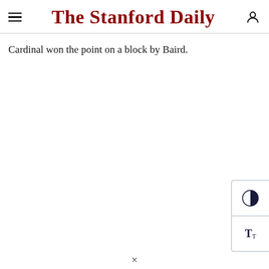The Stanford Daily
Cardinal won the point on a block by Baird.